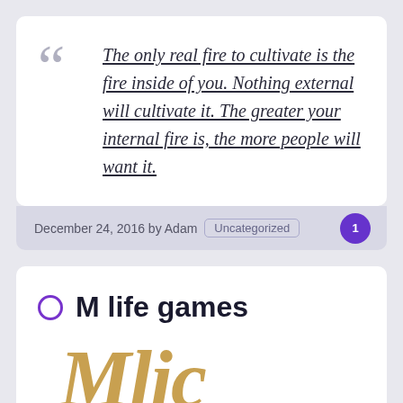The only real fire to cultivate is the fire inside of you. Nothing external will cultivate it. The greater your internal fire is, the more people will want it.
December 24, 2016 by Adam  Uncategorized  1
M life games
[Figure (logo): Partial logo showing stylized letters in gold/tan color, partially cropped at bottom of page]